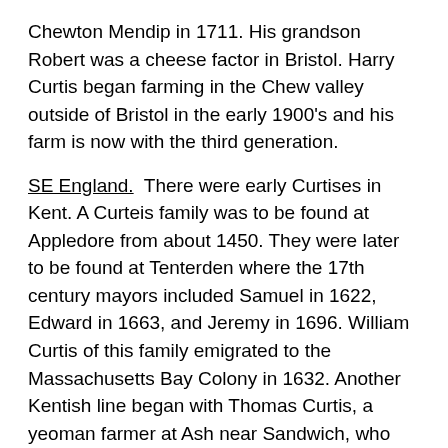Chewton Mendip in 1711. His grandson Robert was a cheese factor in Bristol. Harry Curtis began farming in the Chew valley outside of Bristol in the early 1900's and his farm is now with the third generation.
SE England. There were early Curtises in Kent. A Curteis family was to be found at Appledore from about 1450. They were later to be found at Tenterden where the 17th century mayors included Samuel in 1622, Edward in 1663, and Jeremy in 1696. William Curtis of this family emigrated to the Massachusetts Bay Colony in 1632. Another Kentish line began with Thomas Curtis, a yeoman farmer at Ash near Sandwich, who died there in 1631. Four of his sons emigrated to Massachusetts in 1638.
Meanwhile John Curtis...